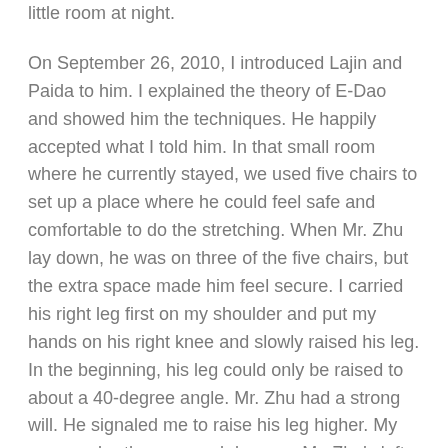little room at night.
On September 26, 2010, I introduced Lajin and Paida to him. I explained the theory of E-Dao and showed him the techniques. He happily accepted what I told him. In that small room where he currently stayed, we used five chairs to set up a place where he could feel safe and comfortable to do the stretching. When Mr. Zhu lay down, he was on three of the five chairs, but the extra space made him feel secure. I carried his right leg first on my shoulder and put my hands on his right knee and slowly raised his leg. In the beginning, his leg could only be raised to about a 40-degree angle. Mr. Zhu had a strong will. He signaled me to raise his leg higher. My younger brother pressed down on Mr. Zhu's left leg. We continued this raising one leg and pressing down the other until the right leg was raised to about a 60-80-degree angle. After 15 minutes, we let go of his legs and he